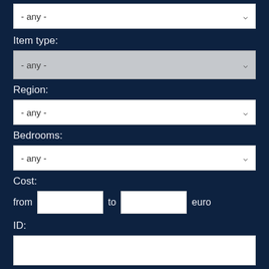[Figure (screenshot): Dropdown select box showing '- any -' at the top of the page]
Item type:
[Figure (screenshot): Grayed out dropdown select box showing '- any -' for Item type]
Region:
[Figure (screenshot): Dropdown select box showing '- any -' for Region]
Bedrooms:
[Figure (screenshot): Dropdown select box showing '- any -' for Bedrooms]
Cost:
from  [input]  to  [input]  euro
ID:
[Figure (screenshot): Text input field for ID]
Sort by:
[Figure (screenshot): Dropdown select box showing 'Price (ascending)' for Sort by]